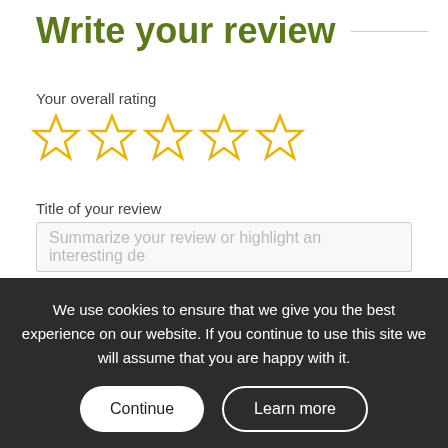Write your review
Your overall rating
[Figure (other): Five empty star rating icons in yellow/gold outline]
Title of your review
Summarize your review or highlight an interesting de
Your review
Tell people your review
We use cookies to ensure that we give you the best experience on our website. If you continue to use this site we will assume that you are happy with it.
Continue
Learn more
Your name